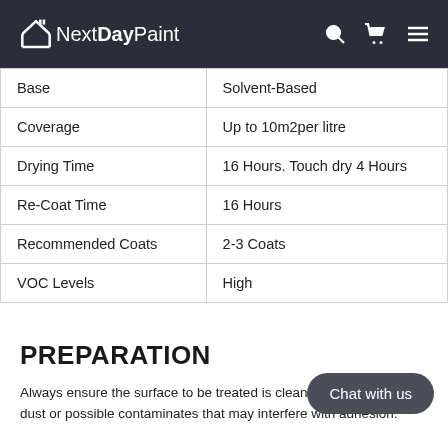NextDayPaint
| Base | Solvent-Based |
| Coverage | Up to 10m2per litre |
| Drying Time | 16 Hours. Touch dry 4 Hours |
| Re-Coat Time | 16 Hours |
| Recommended Coats | 2-3 Coats |
| VOC Levels | High |
PREPARATION
Always ensure the surface to be treated is clean and free from any dust or possible contaminates that may interfere with adhesion.